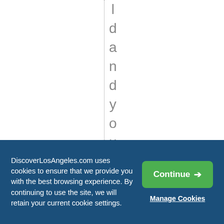l d a n d y o u c a n d e l v e r
DiscoverLosAngeles.com uses cookies to ensure that we provide you with the best browsing experience. By continuing to use the site, we will retain your current cookie settings.
Continue →
Manage Cookies